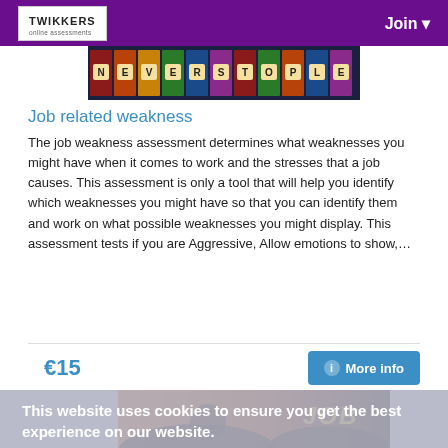TWIKKERS | Join
[Figure (photo): Banner image with colorful book spines spelling out NEVER STOP LEARNING]
Job related weakness
The job weakness assessment determines what weaknesses you might have when it comes to work and the stresses that a job causes. This assessment is only a tool that will help you identify which weaknesses you might have so that you can identify them and work on what possible weaknesses you might display. This assessment tests if you are Aggressive, Allow emotions to show,…
€15
More info
This website uses cookies to ensure you get the best experience on our website. Learn More
[Figure (photo): Career Management promotional image showing a person jumping toward a JOB sign, with text about career management being a life-long process]